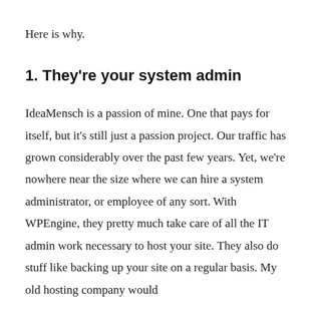Here is why.
1. They're your system admin
IdeaMensch is a passion of mine. One that pays for itself, but it's still just a passion project. Our traffic has grown considerably over the past few years. Yet, we're nowhere near the size where we can hire a system administrator, or employee of any sort. With WPEngine, they pretty much take care of all the IT admin work necessary to host your site. They also do stuff like backing up your site on a regular basis. My old hosting company would